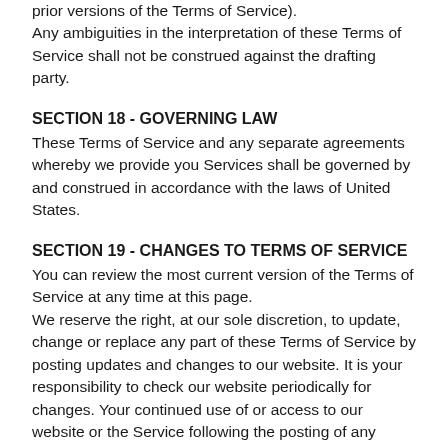prior versions of the Terms of Service). Any ambiguities in the interpretation of these Terms of Service shall not be construed against the drafting party.
SECTION 18 - GOVERNING LAW
These Terms of Service and any separate agreements whereby we provide you Services shall be governed by and construed in accordance with the laws of United States.
SECTION 19 - CHANGES TO TERMS OF SERVICE
You can review the most current version of the Terms of Service at any time at this page.
We reserve the right, at our sole discretion, to update, change or replace any part of these Terms of Service by posting updates and changes to our website. It is your responsibility to check our website periodically for changes. Your continued use of or access to our website or the Service following the posting of any changes to these Terms of Service constitutes acceptance of those changes.